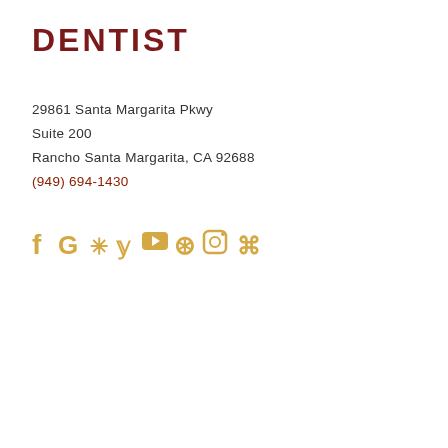DENTIST
29861 Santa Margarita Pkwy
Suite 200
Rancho Santa Margarita, CA 92688
(949) 694-1430
[Figure (other): Social media icons: Facebook, Google, Yelp, Twitter, YouTube, Pinterest, Instagram, Vine/other - all in golden/amber color]
| Day | Hours |
| --- | --- |
| Monday | 9:00 am - 5:00 pm |
| Tuesday | 9:00 am - 5:00 pm |
| Wednesday | 9:00 am - 1:00 pm |
| Thursday | 9:00 am - 5:00 pm |
| Friday | 9:00 am - 3:00 pm |
| Saturday | Closed |
| Sunday | Closed |